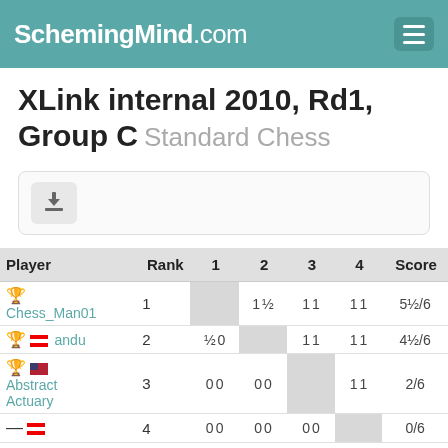SchemingMind.com
XLink internal 2010, Rd1, Group C Standard Chess
[Figure (other): Download button icon]
| Player | Rank | 1 | 2 | 3 | 4 | Score |
| --- | --- | --- | --- | --- | --- | --- |
| 🏆 Chess_Man01 | 1 | — | 1 ½ | 1 1 | 1 1 | 5½/6 |
| 🥈 🇦🇹 andu | 2 | ½ 0 | — | 1 1 | 1 1 | 4½/6 |
| 🏆 🇺🇸 Abstract Actuary | 3 | 0 0 | 0 0 | — | 1 1 | 2/6 |
| — 🇦🇹 | 4 | 0 0 | 0 0 | 0 0 | — | 0/6 |